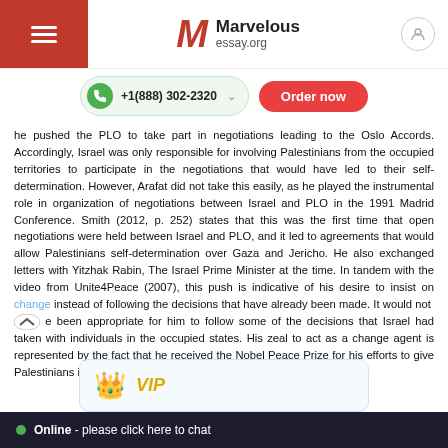Marvelous essay.org
+1(888) 302-2320  Order now
he pushed the PLO to take part in negotiations leading to the Oslo Accords. Accordingly, Israel was only responsible for involving Palestinians from the occupied territories to participate in the negotiations that would have led to their self-determination. However, Arafat did not take this easily, as he played the instrumental role in organization of negotiations between Israel and PLO in the 1991 Madrid Conference. Smith (2012, p. 252) states that this was the first time that open negotiations were held between Israel and PLO, and it led to agreements that would allow Palestinians self-determination over Gaza and Jericho. He also exchanged letters with Yitzhak Rabin, The Israel Prime Minister at the time. In tandem with the video from Unite4Peace (2007), this push is indicative of his desire to insist on change instead of following the decisions that have already been made. It would not have been appropriate for him to follow some of the decisions that Israel had taken with individuals in the occupied states. His zeal to act as a change agent is represented by the fact that he received the Nobel Peace Prize for his efforts to give Palestinians independence that had eluded them over a long period.
VIP
Online - please click here to chat